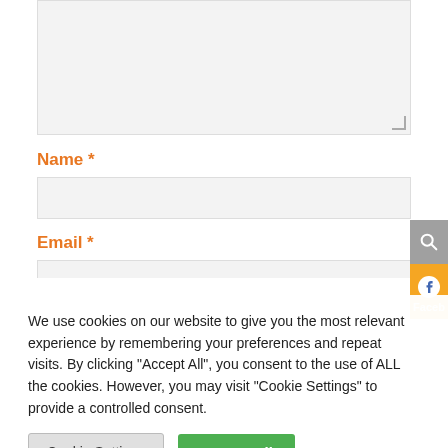[Figure (screenshot): Textarea input field (light gray background)]
Name *
[Figure (screenshot): Name text input field (light gray background)]
Email *
[Figure (screenshot): Email text input field (partial, light gray background)]
[Figure (screenshot): Search icon button (gray)]
[Figure (screenshot): Facebook icon button (orange/yellow)]
We use cookies on our website to give you the most relevant experience by remembering your preferences and repeat visits. By clicking “Accept All”, you consent to the use of ALL the cookies. However, you may visit "Cookie Settings" to provide a controlled consent.
Cookie Settings
Accept All